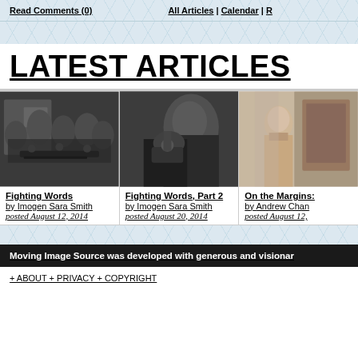Read Comments (0)   All Articles | Calendar | P
LATEST ARTICLES
[Figure (photo): Black and white film still showing a group of men in hats gathered around a table]
Fighting Words
by Imogen Sara Smith
posted August 12, 2014
[Figure (photo): Black and white photo of a man holding a camera or gun, looking sideways]
Fighting Words, Part 2
by Imogen Sara Smith
posted August 20, 2014
[Figure (photo): Color photo of a woman in a light-colored wrap or robe, outdoors]
On the Margins:
by Andrew Chan
posted August 12,
Moving Image Source was developed with generous and visionar
+ ABOUT + PRIVACY + COPYRIGHT